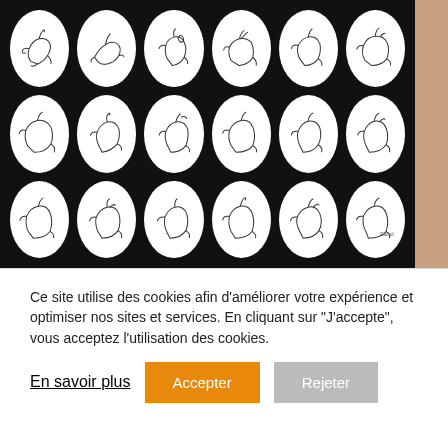[Figure (illustration): A black background panel with 18 white circles arranged in a 6x3 grid, each containing a line-drawn sketch of a horse and rider or similar equestrian figure.]
Ce site utilise des cookies afin d'améliorer votre expérience et optimiser nos sites et services. En cliquant sur "J'accepte", vous acceptez l'utilisation des cookies.
En savoir plus
Accepter
Rejeter